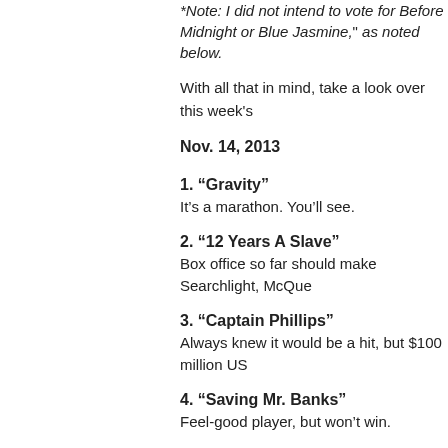*Note: I did not intend to vote for Before Midnight or Blue Jasmine,* as noted below.
With all that in mind, take a look over this week's
Nov. 14, 2013
1. “Gravity”
It’s a marathon. You’ll see.
2. “12 Years A Slave”
Box office so far should make Searchlight, McQue
3. “Captain Phillips”
Always knew it would be a hit, but $100 million US
4. “Saving Mr. Banks”
Feel-good player, but won’t win.
5. “Lee Daniels’ The Butler”
Y’all know there are a lot of Academy members in
6. “Inside Llewyn Davis”
Never doubt the appeal of the Coens and the pow